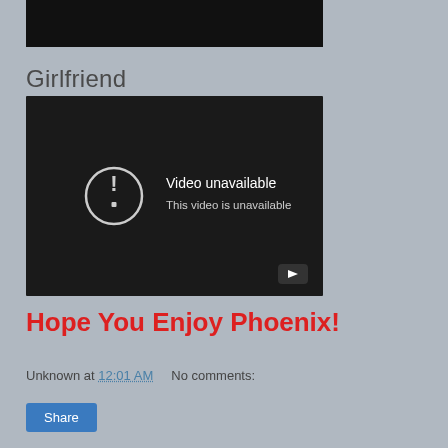[Figure (screenshot): Top cropped black image area representing top of a video or image thumbnail]
Girlfriend
[Figure (screenshot): Embedded YouTube video player showing 'Video unavailable - This video is unavailable' error message on dark background with a YouTube play button icon in the bottom right corner]
Hope You Enjoy Phoenix!
Unknown at 12:01 AM   No comments:
Share